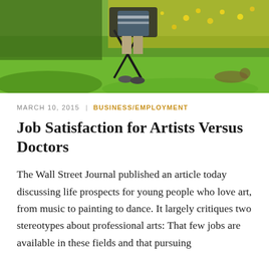[Figure (photo): Person sitting in a folding chair outdoors in a green field with yellow wildflowers, viewed from behind, wearing a striped shirt]
MARCH 10, 2015  |  BUSINESS/EMPLOYMENT
Job Satisfaction for Artists Versus Doctors
The Wall Street Journal published an article today discussing life prospects for young people who love art, from music to painting to dance. It largely critiques two stereotypes about professional arts: That few jobs are available in these fields and that pursuing